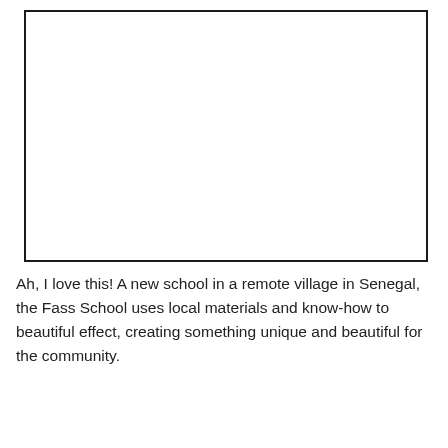[Figure (photo): Placeholder image box representing a photo of the Fass School in a remote village in Senegal]
Ah, I love this!  A new school in a remote village in Senegal, the Fass School uses local materials and know-how to beautiful effect, creating something unique and beautiful for the community.